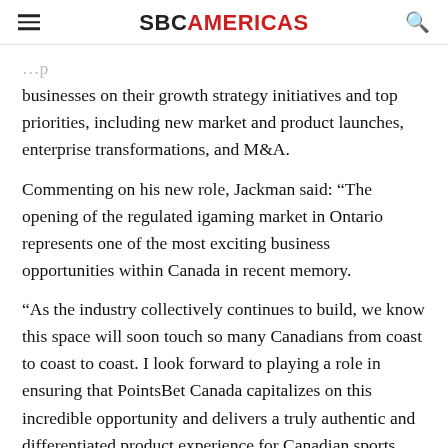SBCAMERICAS
businesses on their growth strategy initiatives and top priorities, including new market and product launches, enterprise transformations, and M&A.
Commenting on his new role, Jackman said: “The opening of the regulated igaming market in Ontario represents one of the most exciting business opportunities within Canada in recent memory.
“As the industry collectively continues to build, we know this space will soon touch so many Canadians from coast to coast to coast. I look forward to playing a role in ensuring that PointsBet Canada capitalizes on this incredible opportunity and delivers a truly authentic and differentiated product experience for Canadian sports fans.”